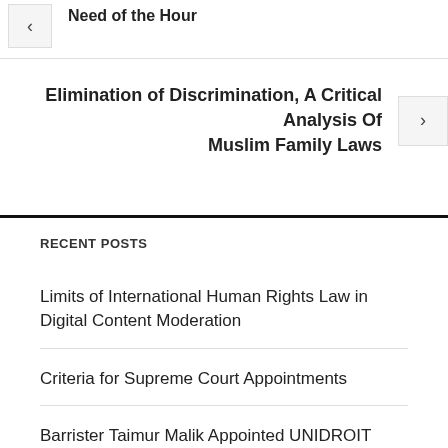Need of the Hour
Elimination of Discrimination, A Critical Analysis Of Muslim Family Laws
RECENT POSTS
Limits of International Human Rights Law in Digital Content Moderation
Criteria for Supreme Court Appointments
Barrister Taimur Malik Appointed UNIDROIT Correspondent for Pakistan